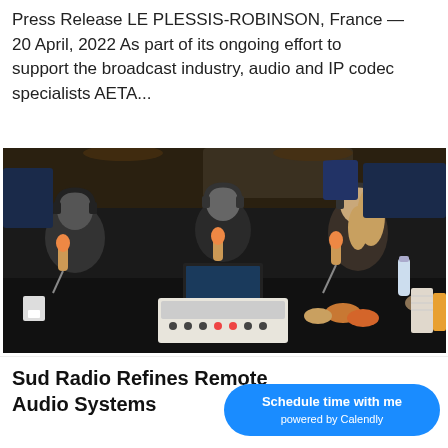Press Release LE PLESSIS-ROBINSON, France — 20 April, 2022 As part of its ongoing effort to support the broadcast industry, audio and IP codec specialists AETA...
[Figure (photo): Three people sitting around a dark table in a radio studio or broadcast setting, wearing headphones and speaking into orange microphones. A laptop, audio mixing device, drinks, pastries, and cups are visible on the table. The room has dark lighting with studio equipment.]
Sud Radio Refines Remote Audio Systems